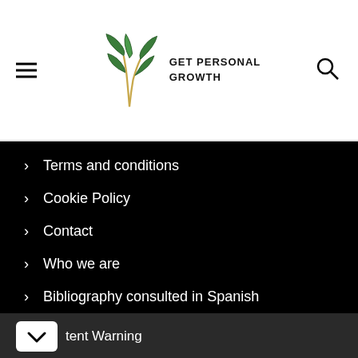GET PERSONAL GROWTH
Terms and conditions
Cookie Policy
Contact
Who we are
Bibliography consulted in Spanish
tent Warning
View store hours, get directions, or call your salon!